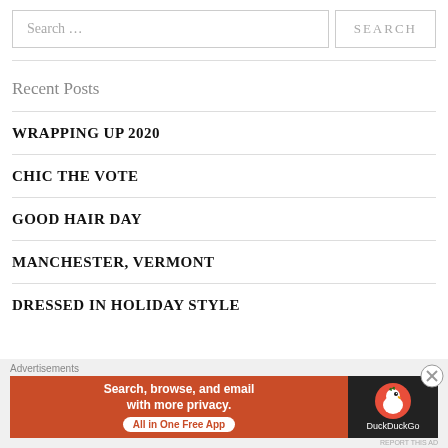Search …
SEARCH
Recent Posts
WRAPPING UP 2020
CHIC THE VOTE
GOOD HAIR DAY
MANCHESTER, VERMONT
DRESSED IN HOLIDAY STYLE
Advertisements
[Figure (screenshot): DuckDuckGo advertisement banner: orange left section with text 'Search, browse, and email with more privacy. All in One Free App' and dark right section with DuckDuckGo duck logo and brand name.]